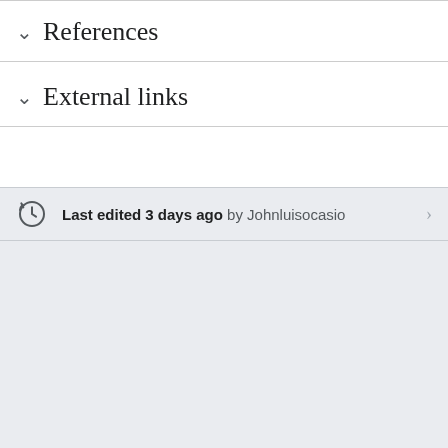References
External links
Last edited 3 days ago by Johnluisocasio